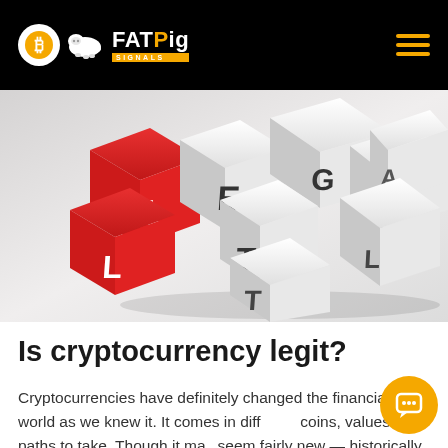FAT Pig SIGNALS
[Figure (photo): 3D dice/letter blocks spelling out LEGIT and LEGAL in red and white colors on a gray gradient background]
Is cryptocurrency legit?
Cryptocurrencies have definitely changed the financial world as we knew it. It comes in different coins, values and paths to take. Though it may seem fairly new — historically speaking, it became